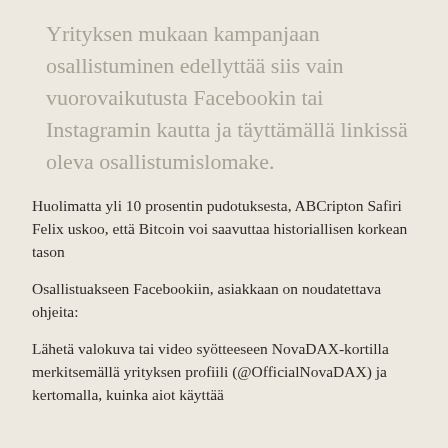Yrityksen mukaan kampanjaan osallistuminen edellyttää siis vain vuorovaikutusta Facebookin tai Instagramin kautta ja täyttämällä linkissä oleva osallistumislomake.
Huolimatta yli 10 prosentin pudotuksesta, ABCripton Safiri Felix uskoo, että Bitcoin voi saavuttaa historiallisen korkean tason
Osallistuakseen Facebookiin, asiakkaan on noudatettava ohjeita:
Lähetä valokuva tai video syötteeseen NovaDAX-kortilla merkitsemällä yrityksen profiili (@OfficialNovaDAX) ja kertomalla, kuinka aiot käyttää